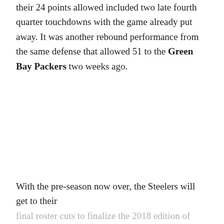their 24 points allowed included two late fourth quarter touchdowns with the game already put away. It was another rebound performance from the same defense that allowed 51 to the Green Bay Packers two weeks ago.
With the pre-season now over, the Steelers will get to their final roster cuts to finalize the 2018 edition of their roster. The next time the team will be in action will be under the